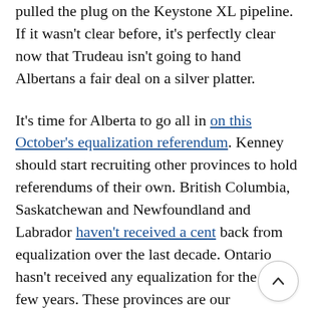pulled the plug on the Keystone XL pipeline. If it wasn't clear before, it's perfectly clear now that Trudeau isn't going to hand Albertans a fair deal on a silver platter.
It's time for Alberta to go all in on this October's equalization referendum. Kenney should start recruiting other provinces to hold referendums of their own. British Columbia, Saskatchewan and Newfoundland and Labrador haven't received a cent back from equalization over the last decade. Ontario hasn't received any equalization for the last few years. These provinces are our natural [allies] in this fight.